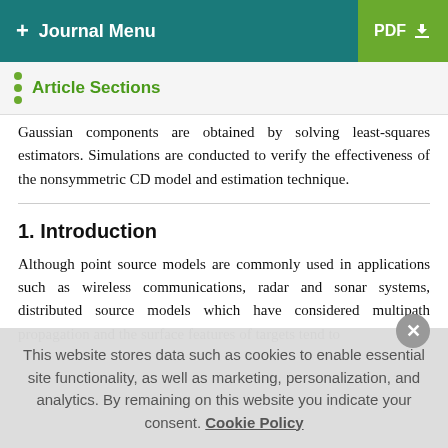+ Journal Menu | PDF
Article Sections
Gaussian components are obtained by solving least-squares estimators. Simulations are conducted to verify the effectiveness of the nonsymmetric CD model and estimation technique.
1. Introduction
Although point source models are commonly used in applications such as wireless communications, radar and sonar systems, distributed source models which have considered multipath propagation and the surface features of targets tend to
This website stores data such as cookies to enable essential site functionality, as well as marketing, personalization, and analytics. By remaining on this website you indicate your consent. Cookie Policy